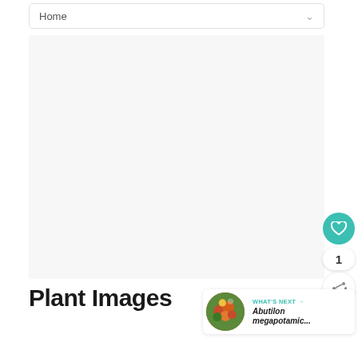Home
[Figure (photo): Large empty light gray image area placeholder for plant images]
Plant Images
WHAT'S NEXT → Abutilon megapotamic...